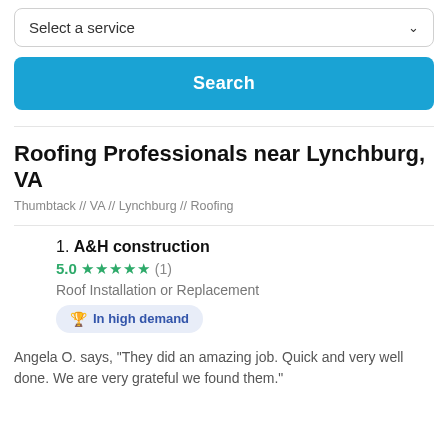Select a service
Search
Roofing Professionals near Lynchburg, VA
Thumbtack // VA // Lynchburg // Roofing
1. A&H construction · 5.0 ★★★★★ (1) · Roof Installation or Replacement · In high demand
Angela O. says, "They did an amazing job. Quick and very well done. We are very grateful we found them."